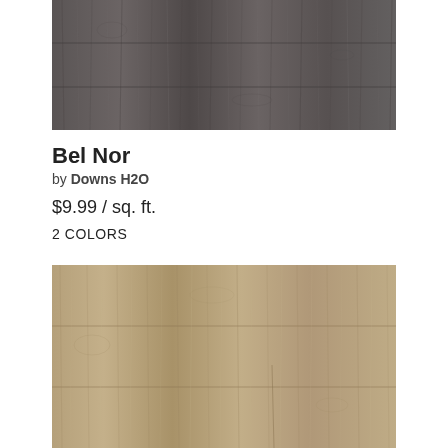[Figure (photo): Close-up photo of dark gray wood-look luxury vinyl plank flooring with vertical grain texture]
Bel Nor
by Downs H2O
$9.99 / sq. ft.
2 COLORS
[Figure (photo): Close-up photo of light tan/beige wood-look luxury vinyl plank flooring with natural grain texture]